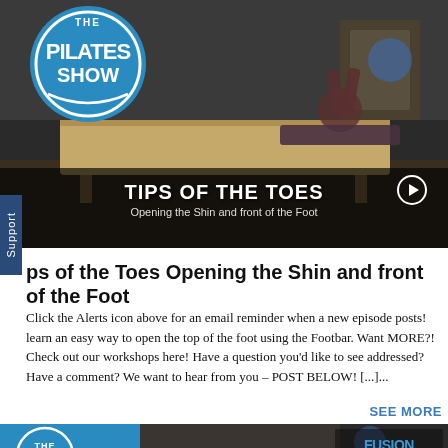[Figure (screenshot): Video thumbnail for 'Tips of the Toes Opening the Shin and front of the Foot' — shows a person on a Pilates reformer machine, with The Pilates Show circular logo overlay in the top left, dark overlay banner at the bottom with white bold text 'TIPS OF THE TOES' and subtitle 'Opening the Shin and front of the Foot', and a play button circle on the right side.]
ps of the Toes Opening the Shin and front of the Foot
Click the Alerts icon above for an email reminder when a new episode posts! learn an easy way to open the top of the foot using the Footbar. Want MORE?! Check out our workshops here! Have a question you’d like to see addressed? Have a comment? We want to hear from you – POST BELOW! [...]...
SEE MORE
[Figure (screenshot): Partial bottom thumbnail of another Pilates Show video — left portion shows blue background with 'THE' text, right portion shows gym equipment and a Fusion Pilates Edu logo overlay.]